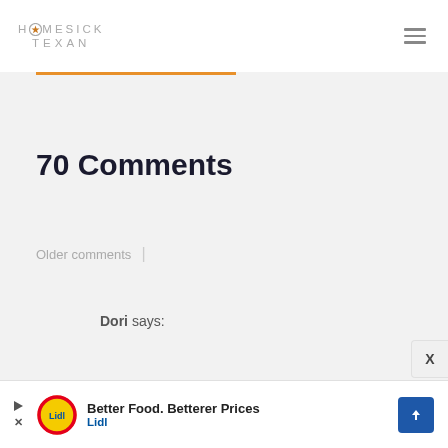HOMESICK TEXAN
70 Comments
Older comments |
Dori says:
Better Food. Betterer Prices Lidl